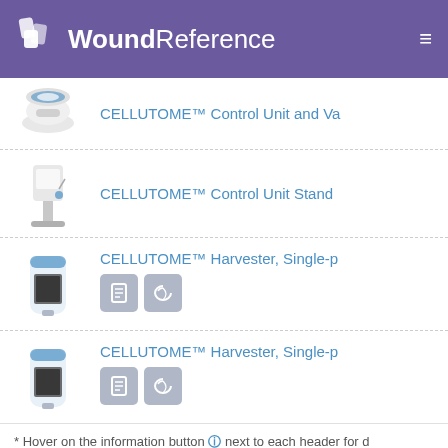WoundReference
CELLUTOME™ Control Unit and Va
CELLUTOME™ Control Unit Stand
CELLUTOME™ Harvester, Single-p
CELLUTOME™ Harvester, Single-p
* Hover on the information button ℹ next to each header for d
Features